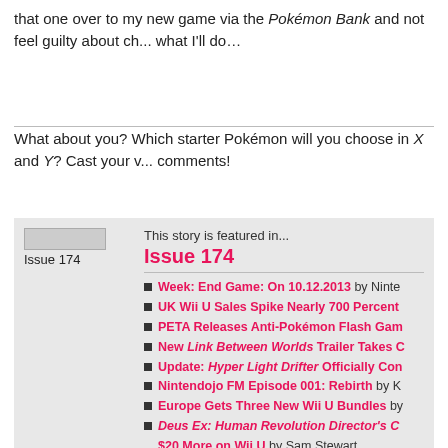that one over to my new game via the Pokémon Bank and not feel guilty about ch... what I'll do…
What about you? Which starter Pokémon will you choose in X and Y? Cast your... comments!
This story is featured in...
Issue 174
Week: End Game: On 10.12.2013 by Nintendo...
UK Wii U Sales Spike Nearly 700 Percent
PETA Releases Anti-Pokémon Flash Game...
New Link Between Worlds Trailer Takes C...
Update: Hyper Light Drifter Officially Con...
Nintendojo FM Episode 001: Rebirth by K...
Europe Gets Three New Wii U Bundles by...
Deus Ex: Human Revolution Director's C... $20 More on Wii U by Sam Stewart
Nintendo Download: 10.10.2013 by Sam S...
Review: AiRace Speed by Anthony Vigna
Mega Man Creator Cites Mario Franchise... Jason Strong